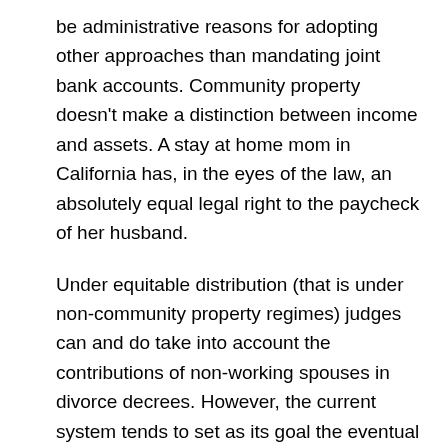be administrative reasons for adopting other approaches than mandating joint bank accounts. Community property doesn't make a distinction between income and assets. A stay at home mom in California has, in the eyes of the law, an absolutely equal legal right to the paycheck of her husband.
Under equitable distribution (that is under non-community property regimes) judges can and do take into account the contributions of non-working spouses in divorce decrees. However, the current system tends to set as its goal the eventual economic independence of the spouses, which may mitigate against what you would want (I am not clear on this). BTW,